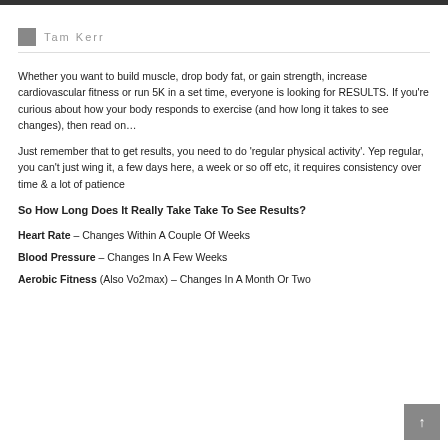Tam Kerr
Whether you want to build muscle, drop body fat, or gain strength, increase cardiovascular fitness or run 5K in a set time, everyone is looking for RESULTS. If you're curious about how your body responds to exercise (and how long it takes to see changes), then read on…
Just remember that to get results, you need to do 'regular physical activity'. Yep regular, you can't just wing it, a few days here, a week or so off etc, it requires consistency over time & a lot of patience
So How Long Does It Really Take Take To See Results?
Heart Rate – Changes Within A Couple Of Weeks
Blood Pressure – Changes In A Few Weeks
Aerobic Fitness (Also Vo2max) – Changes In A Month Or Two